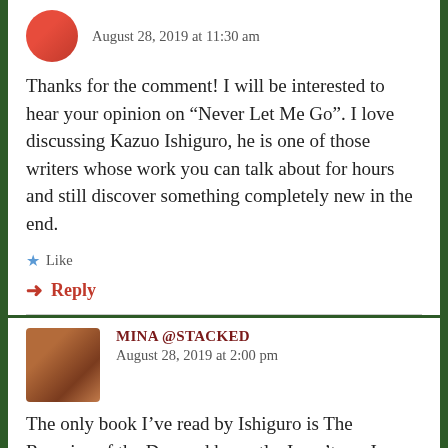August 28, 2019 at 11:30 am
Thanks for the comment! I will be interested to hear your opinion on “Never Let Me Go”. I love discussing Kazuo Ishiguro, he is one of those writers whose work you can talk about for hours and still discover something completely new in the end.
★ Like
➜ Reply
MINA @STACKED
August 28, 2019 at 2:00 pm
The only book I’ve read by Ishiguro is The Remains of the Day and honestly, I can’t say I